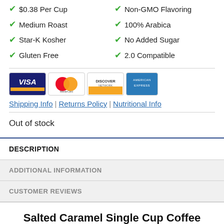$0.38 Per Cup
Non-GMO Flavoring
Medium Roast
100% Arabica
Star-K Kosher
No Added Sugar
Gluten Free
2.0 Compatible
[Figure (logo): Payment method logos: Visa, MasterCard, Discover, American Express]
Shipping Info | Returns Policy | Nutritional Info
Out of stock
DESCRIPTION
ADDITIONAL INFORMATION
CUSTOMER REVIEWS
Salted Caramel Single Cup Coffee